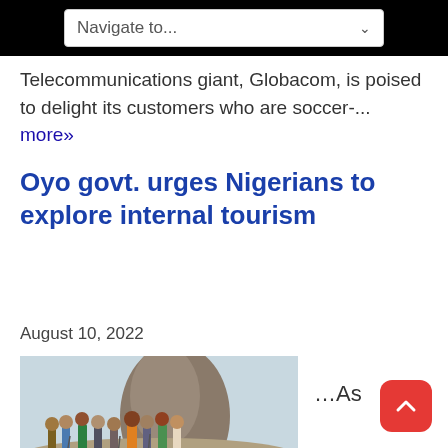Navigate to...
Telecommunications giant, Globacom, is poised to delight its customers who are soccer-... more»
Oyo govt. urges Nigerians to explore internal tourism
August 10, 2022
[Figure (photo): Group of people posing on rocky terrain outdoors, with a large rock formation in the background.]
…As